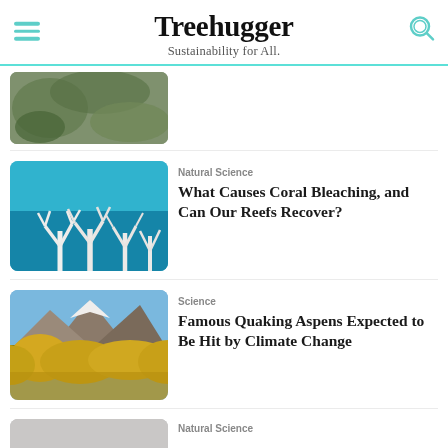Treehugger — Sustainability for All.
[Figure (photo): Partial top image, cropped leaves/nature texture]
[Figure (photo): Bleached white coral underwater against blue water]
Natural Science
What Causes Coral Bleaching, and Can Our Reefs Recover?
[Figure (photo): Yellow aspen trees in autumn with mountains in background]
Science
Famous Quaking Aspens Expected to Be Hit by Climate Change
[Figure (photo): Partial bottom image, gray/muted nature scene]
Natural Science